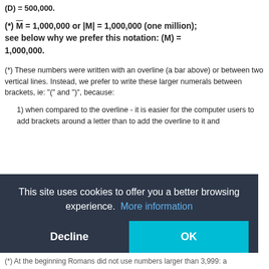(D) = 500,000.
(*) M̄ = 1,000,000 or |M| = 1,000,000 (one million); see below why we prefer this notation: (M) = 1,000,000.
(*) These numbers were written with an overline (a bar above) or between two vertical lines. Instead, we prefer to write these larger numerals between brackets, ie: "(" and ")", because:
1) when compared to the overline - it is easier for the computer users to add brackets around a letter than to add the overline to it and
...onfusion through the roman...and the lower numbers...
...o brackets
...the rule is ...e 50 => (L)
(*) At the beginning Romans did not use numbers larger than 3,999: a